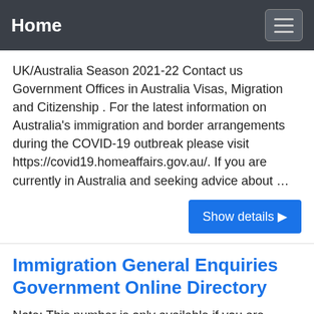Home
UK/Australia Season 2021-22 Contact us Government Offices in Australia Visas, Migration and Citizenship . For the latest information on Australia's immigration and border arrangements during the COVID-19 outbreak please visit https://covid19.homeaffairs.gov.au/. If you are currently in Australia and seeking advice about …
Show details ▶
Immigration General Enquiries Government Online Directory
Note: This number is only available if you are calling from inside Australia. If you are outside Australia and wish to make an enquiry please contact the relevant Australian Immigration office overseas. Use this general enquiries